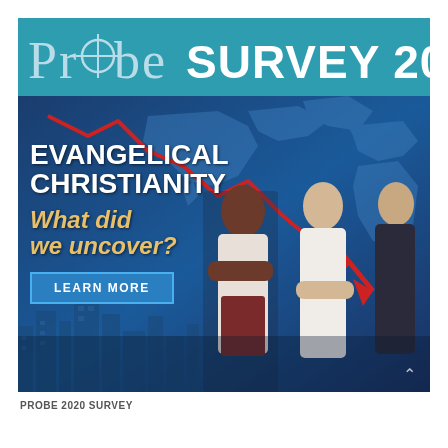[Figure (infographic): Probe Survey 2020 advertisement banner. Teal header bar with 'Probe SURVEY 2020' logo text. Blue background with world map silhouette, a red downward-trending line chart arrow, three people standing with arms crossed (Black woman, white woman, Asian man). Left side text overlay reads 'EVANGELICAL CHRISTIANITY What did we uncover?' with a 'LEARN MORE' button. City skyline silhouette at bottom left.]
PROBE 2020 SURVEY